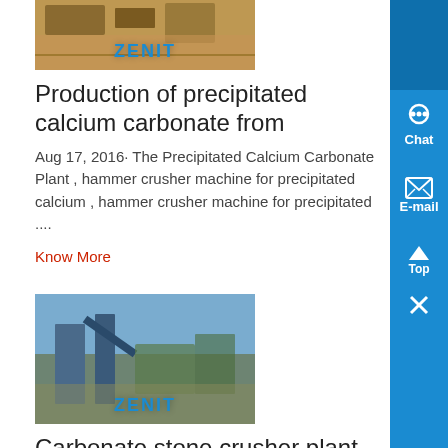[Figure (photo): Mining plant image with ZENIT logo overlay, brown/orange tones]
Production of precipitated calcium carbonate from
Aug 17, 2016· The Precipitated Calcium Carbonate Plant , hammer crusher machine for precipitated calcium , hammer crusher machine for precipitated ....
Know More
[Figure (photo): Mining/crushing plant image with ZENIT logo overlay, blue/brown tones]
Carbonate stone crusher plant - Crusher Unit
, mill precipitated calcium carbonate , crusher machine grinding plant, crushing plant for , Crushing plant the mine calcium